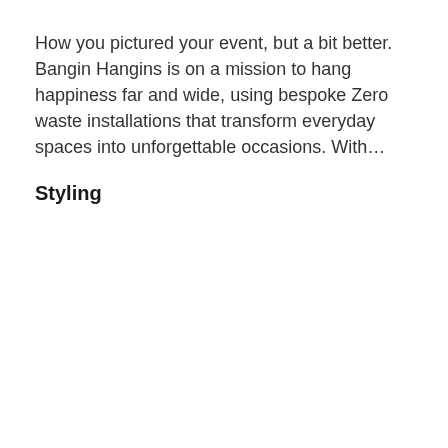How you pictured your event, but a bit better. Bangin Hangins is on a mission to hang happiness far and wide, using bespoke Zero waste installations that transform everyday spaces into unforgettable occasions. With...
Styling